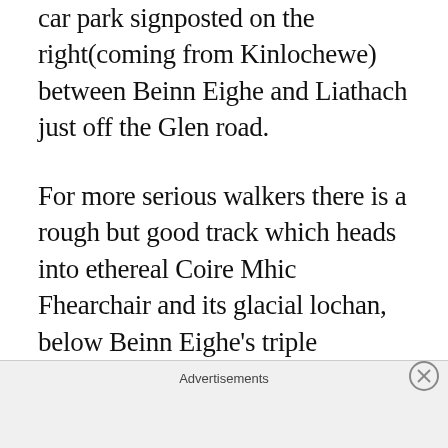car park signposted on the right(coming from Kinlochewe) between Beinn Eighe and Liathach just off the Glen road.
For more serious walkers there is a rough but good track which heads into ethereal Coire Mhic Fhearchair and its glacial lochan, below Beinn Eighe's triple buttresses. It's as wild a place as you could wish for. Two hours,  at least, one way.No difficulties but  be prepared weather wise and have good sturdy boots,  full waterproof gear and warm
Advertisements